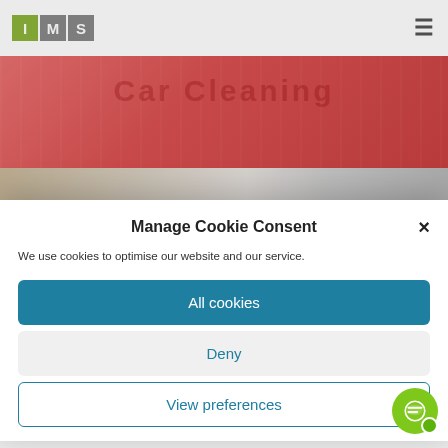[Figure (logo): IMS logo with green I, grey M, grey S squares]
[Figure (photo): Red-tinted banner image with large partially visible text overlay]
[Figure (photo): Second partially visible photograph strip]
Manage Cookie Consent
We use cookies to optimise our website and our service.
All cookies
Deny
View preferences